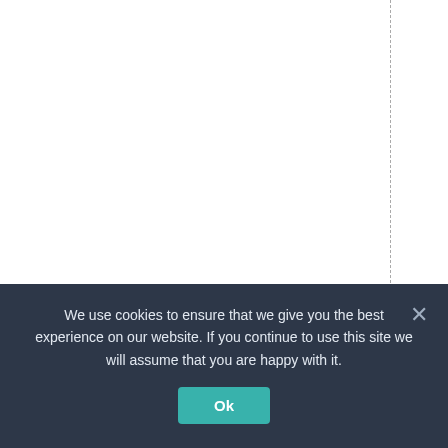RecordsSummary.Yea
We use cookies to ensure that we give you the best experience on our website. If you continue to use this site we will assume that you are happy with it.